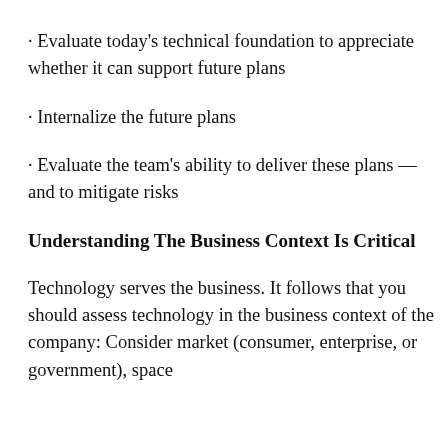· Evaluate today’s technical foundation to appreciate whether it can support future plans
· Internalize the future plans
· Evaluate the team’s ability to deliver these plans — and to mitigate risks
Understanding The Business Context Is Critical
Technology serves the business. It follows that you should assess technology in the business context of the company: Consider market (consumer, enterprise, or government), space